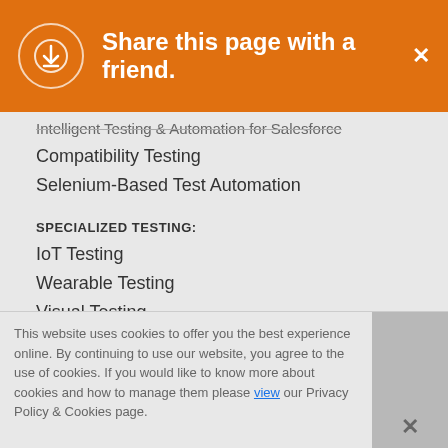Share this page with a friend.
Intelligent Testing & Automation for Salesforce
Compatibility Testing
Selenium-Based Test Automation
SPECIALIZED TESTING:
IoT Testing
Wearable Testing
Visual Testing
Intelligent Testing
Service Virtualization
This website uses cookies to offer you the best experience online. By continuing to use our website, you agree to the use of cookies. If you would like to know more about cookies and how to manage them please view our Privacy Policy & Cookies page.